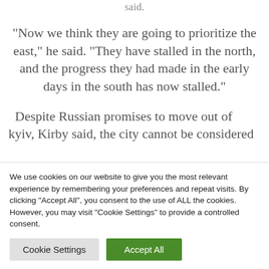said.
“Now we think they are going to prioritize the east,” he said. “They have stalled in the north, and the progress they had made in the early days in the south has now stalled.”
Despite Russian promises to move out of kyiv, Kirby said, the city cannot be considered
We use cookies on our website to give you the most relevant experience by remembering your preferences and repeat visits. By clicking “Accept All”, you consent to the use of ALL the cookies. However, you may visit "Cookie Settings" to provide a controlled consent.